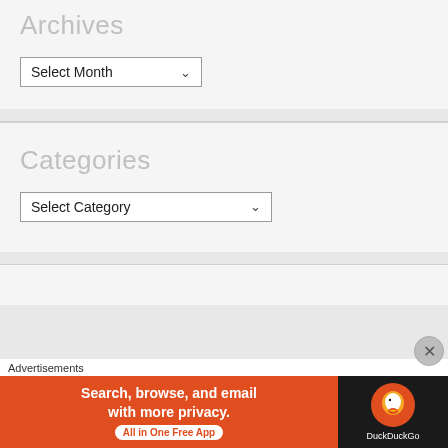Archives
[Figure (screenshot): A dropdown select widget labeled 'Select Month' with a down arrow]
Categories
[Figure (screenshot): A dropdown select widget labeled 'Select Category' with a down arrow]
Advertisements
[Figure (infographic): DuckDuckGo advertisement banner: orange background with text 'Search, browse, and email with more privacy. All in One Free App' and DuckDuckGo logo on dark background]